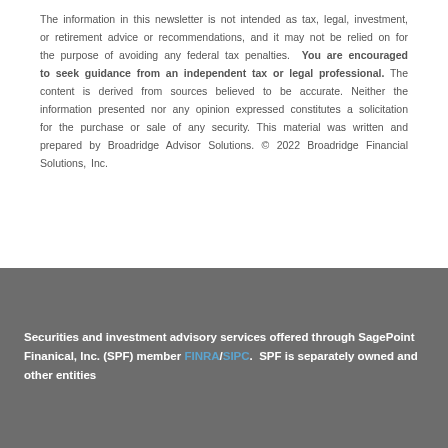The information in this newsletter is not intended as tax, legal, investment, or retirement advice or recommendations, and it may not be relied on for the purpose of avoiding any federal tax penalties. You are encouraged to seek guidance from an independent tax or legal professional. The content is derived from sources believed to be accurate. Neither the information presented nor any opinion expressed constitutes a solicitation for the purchase or sale of any security. This material was written and prepared by Broadridge Advisor Solutions. © 2022 Broadridge Financial Solutions, Inc.
Securities and investment advisory services offered through SagePoint Finanical, Inc. (SPF) member FINRA/SIPC. SPF is separately owned and other entities